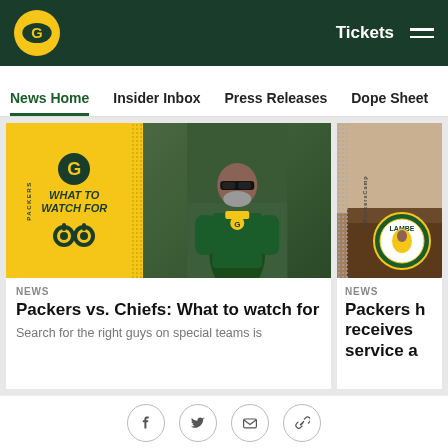[Figure (screenshot): Green Bay Packers website navigation bar with logo, Tickets link, and hamburger menu on dark green background]
News Home  Insider Inbox  Press Releases  Dope Sheet  Game
[Figure (photo): News article card: Packers vs. Chiefs: What to watch for — composite image with yellow What To Watch For graphic on left and Packers coach photo on right]
NEWS
Packers vs. Chiefs: What to watch for
Search for the right guys on special teams is
[Figure (photo): Partial news card: Packers receives service award — shows Lambeau Field podium image]
NEWS
Packers h receives service a
[Figure (infographic): Social sharing icons: Facebook, Twitter, Email, Link]